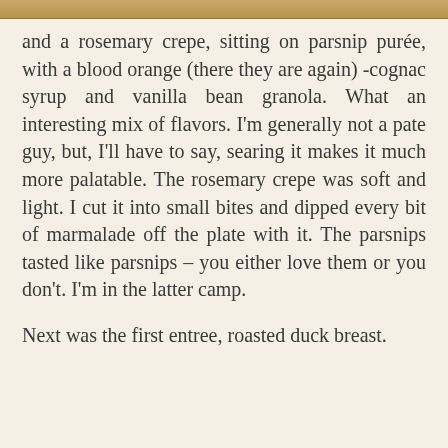[Figure (photo): Partial image strip at the top of the page, showing a warm brown/golden food photograph cropped to a thin strip.]
and a rosemary crepe, sitting on parsnip purée, with a blood orange (there they are again) -cognac syrup and vanilla bean granola. What an interesting mix of flavors. I'm generally not a pate guy, but, I'll have to say, searing it makes it much more palatable. The rosemary crepe was soft and light. I cut it into small bites and dipped every bit of marmalade off the plate with it. The parsnips tasted like parsnips – you either love them or you don't. I'm in the latter camp.
Next was the first entree, roasted duck breast.